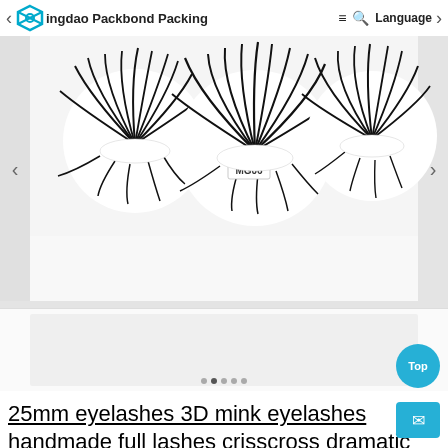Qingdao Packbond Packing Co. Language
[Figure (photo): Product photo showing multiple 25mm 3D mink false eyelashes arranged on a white background. Several dramatic fluffy eyelash styles are displayed on round white holders. Center item labeled MG06.]
25mm eyelashes 3D mink eyelashes handmade full lashes crisscross dramatic mink eyelashes full volum